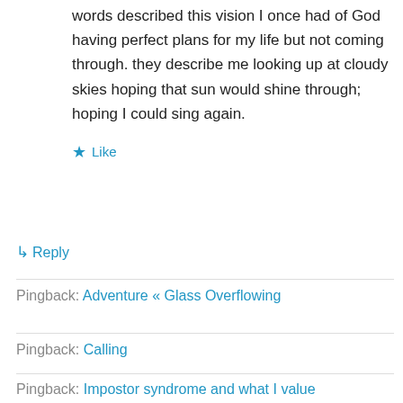words described this vision I once had of God having perfect plans for my life but not coming through. they describe me looking up at cloudy skies hoping that sun would shine through; hoping I could sing again.
★ Like
↳ Reply
Pingback: Adventure « Glass Overflowing
Pingback: Calling
Pingback: Impostor syndrome and what I value
Pingback: Adventure with Content and Publishing